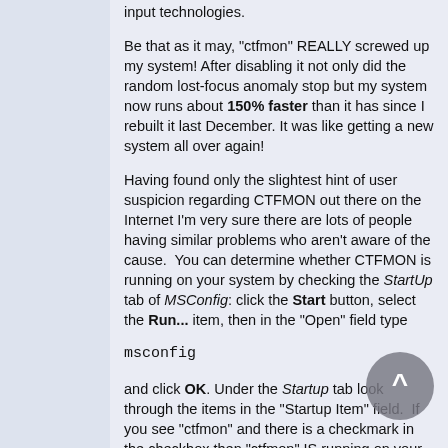input technologies.
Be that as it may, "ctfmon" REALLY screwed up my system! After disabling it not only did the random lost-focus anomaly stop but my system now runs about 150% faster than it has since I rebuilt it last December. It was like getting a new system all over again!
Having found only the slightest hint of user suspicion regarding CTFMON out there on the Internet I'm very sure there are lots of people having similar problems who aren't aware of the cause.  You can determine whether CTFMON is running on your system by checking the StartUp tab of MSConfig: click the Start button, select the Run... item, then in the "Open" field type
msconfig
and click OK. Under the Startup tab look through the items in the "Startup Item" field.  If you see "ctfmon" and there is a checkmark in the checkbox then "ctfmon" IS running on your system.  If you are having problems similar to the ones I've described or any other unusual behavior you haven't accounted for you might want to try disabling it.  Unlike most MSConfig...Startup items however note that disabling CTFMON is not as simple as unchecking it in MSConfig...StartUp.  There are several steps involved in killing this beast permanently.